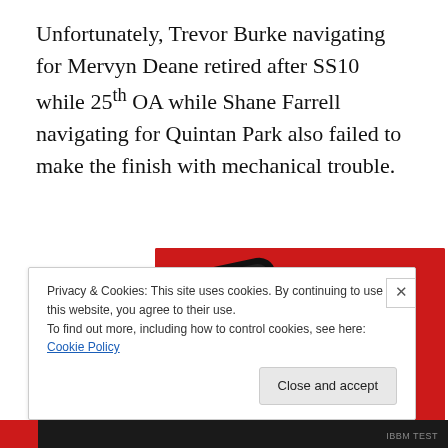Unfortunately, Trevor Burke navigating for Mervyn Deane retired after SS10 while 25th OA while Shane Farrell navigating for Quintan Park also failed to make the finish with mechanical trouble.
[Figure (photo): Advertisement banner showing a smartphone displaying the 'Dis-tri-bu-ted' podcast app on a red background with the text 'An app by listeners, for listeners.' and a 'Download now' button.]
Privacy & Cookies: This site uses cookies. By continuing to use this website, you agree to their use.
To find out more, including how to control cookies, see here: Cookie Policy